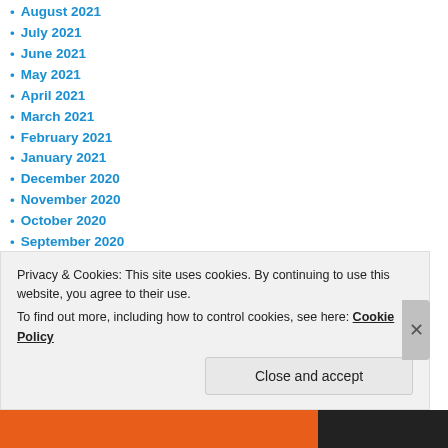August 2021
July 2021
June 2021
May 2021
April 2021
March 2021
February 2021
January 2021
December 2020
November 2020
October 2020
September 2020
August 2020
July 2020
June 2020
May 2020
April 2020
March 2020
Privacy & Cookies: This site uses cookies. By continuing to use this website, you agree to their use. To find out more, including how to control cookies, see here: Cookie Policy
Close and accept